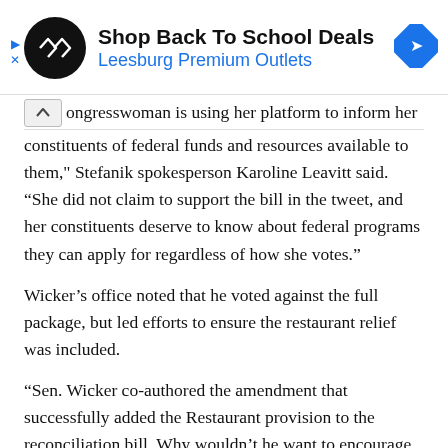[Figure (other): Advertisement banner for Leesburg Premium Outlets with black circular logo with white infinity-like symbol, bold text 'Shop Back To School Deals', blue text 'Leesburg Premium Outlets', and a blue diamond navigation icon on the right. Small play and close controls on the left side.]
Congresswoman is using her platform to inform her constituents of federal funds and resources available to them," Stefanik spokesperson Karoline Leavitt said. "She did not claim to support the bill in the tweet, and her constituents deserve to know about federal programs they can apply for regardless of how she votes."
Wicker's office noted that he voted against the full package, but led efforts to ensure the restaurant relief was included.
"Sen. Wicker co-authored the amendment that successfully added the Restaurant provision to the reconciliation bill. Why wouldn't he want to encourage participation?" Wicker spokesman Phillip Waller said.